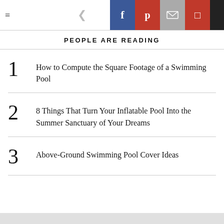≡  <  f  p  ✉  ⊿  S
PEOPLE ARE READING
1  How to Compute the Square Footage of a Swimming Pool
2  8 Things That Turn Your Inflatable Pool Into the Summer Sanctuary of Your Dreams
3  Above-Ground Swimming Pool Cover Ideas